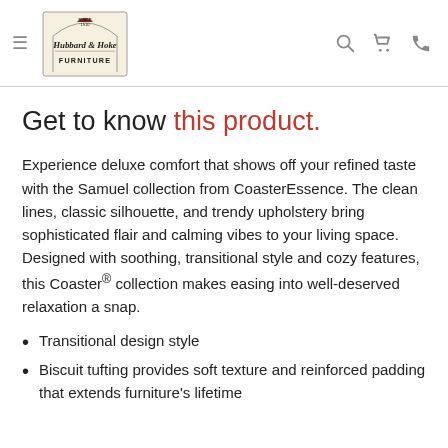Hubbard & Hoke Furniture — navigation header with logo, hamburger menu, search, cart, and phone icons
Get to know this product.
Experience deluxe comfort that shows off your refined taste with the Samuel collection from CoasterEssence. The clean lines, classic silhouette, and trendy upholstery bring sophisticated flair and calming vibes to your living space. Designed with soothing, transitional style and cozy features, this Coaster® collection makes easing into well-deserved relaxation a snap.
Transitional design style
Biscuit tufting provides soft texture and reinforced padding that extends furniture's lifetime